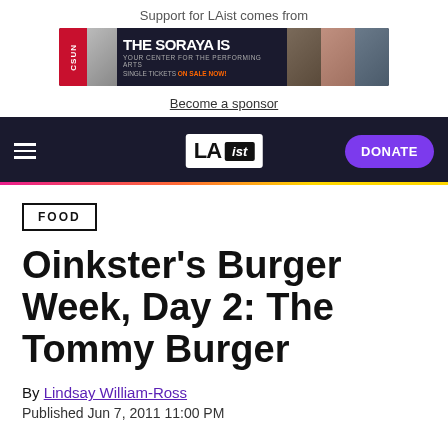Support for LAist comes from
[Figure (illustration): CSUN - The Soraya Is Your Center for the Performing Arts. Single Tickets On Sale Now! Advertisement banner with photos of performers.]
Become a sponsor
LAist navigation bar with hamburger menu, LAist logo, and DONATE button
FOOD
Oinkster's Burger Week, Day 2: The Tommy Burger
By Lindsay William-Ross
Published Jun 7, 2011 11:00 PM